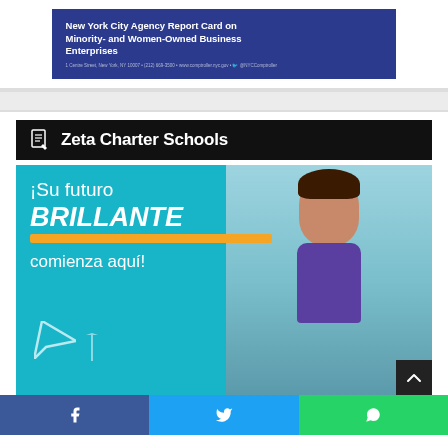[Figure (illustration): NYC Comptroller Agency Report Card on Minority- and Women-Owned Business Enterprises banner in dark blue]
Zeta Charter Schools
[Figure (photo): Zeta Charter Schools promotional banner on teal background with text '¡Su futuro BRILLANTE comienza aquí!' and a smiling young girl]
[Figure (infographic): Social media share bar with Facebook, Twitter, and WhatsApp buttons]